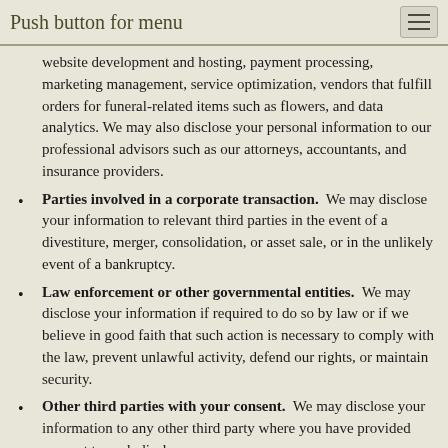Push button for menu
website development and hosting, payment processing, marketing management, service optimization, vendors that fulfill orders for funeral-related items such as flowers, and data analytics. We may also disclose your personal information to our professional advisors such as our attorneys, accountants, and insurance providers.
Parties involved in a corporate transaction. We may disclose your information to relevant third parties in the event of a divestiture, merger, consolidation, or asset sale, or in the unlikely event of a bankruptcy.
Law enforcement or other governmental entities. We may disclose your information if required to do so by law or if we believe in good faith that such action is necessary to comply with the law, prevent unlawful activity, defend our rights, or maintain security.
Other third parties with your consent. We may disclose your information to any other third party where you have provided consent to such disclosure.